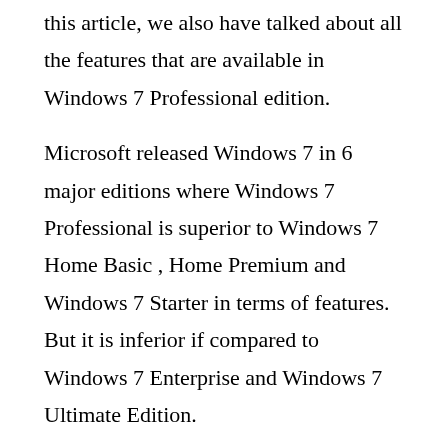this article, we also have talked about all the features that are available in Windows 7 Professional edition.
Microsoft released Windows 7 in 6 major editions where Windows 7 Professional is superior to Windows 7 Home Basic , Home Premium and Windows 7 Starter in terms of features. But it is inferior if compared to Windows 7 Enterprise and Windows 7 Ultimate Edition.